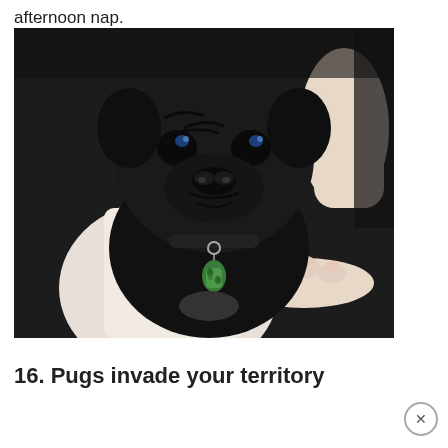afternoon nap.
[Figure (photo): A black pug puppy with shiny dark eyes and a green tag on its collar, being held in the arms of a person wearing a white tank top. The pug faces the camera with a wrinkled face. A hand with light-colored nails is visible holding the dog from below.]
16. Pugs invade your territory